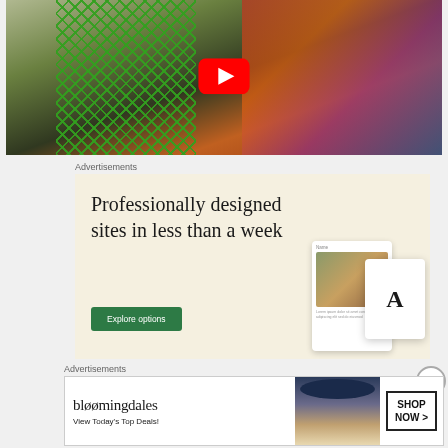[Figure (screenshot): YouTube video thumbnail showing a woman holding a green mesh/knit fabric in what appears to be a crafting or textile workspace. A YouTube play button is overlaid in the center.]
Advertisements
[Figure (screenshot): Advertisement for professionally designed websites. Cream/beige background with large serif text reading 'Professionally designed sites in less than a week' with a green 'Explore options' button and mockup images of web pages on the right side.]
Advertisements
[Figure (screenshot): Bloomingdale's advertisement banner with logo text 'bloomingdales' and tagline 'View Today's Top Deals!' alongside a woman wearing a large brimmed hat and a 'SHOP NOW >' button.]